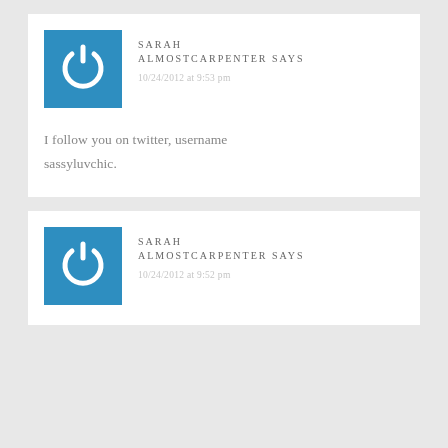SARAH ALMOSTCARPENTER SAYS
10/24/2012 at 9:53 pm
I follow you on twitter, username sassyluvchic.
SARAH ALMOSTCARPENTER SAYS
10/24/2012 at 9:52 pm